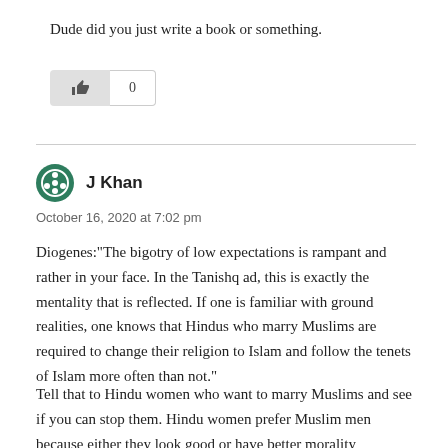Dude did you just write a book or something.
[Figure (other): Like button (thumbs up icon) with count 0]
J Khan
October 16, 2020 at 7:02 pm
Diogenes:“The bigotry of low expectations is rampant and rather in your face. In the Tanishq ad, this is exactly the mentality that is reflected. If one is familiar with ground realities, one knows that Hindus who marry Muslims are required to change their religion to Islam and follow the tenets of Islam more often than not.”
Tell that to Hindu women who want to marry Muslims and see if you can stop them. Hindu women prefer Muslim men because either they look good or have better morality